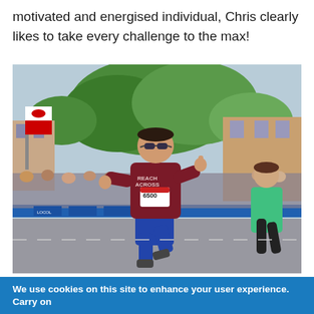motivated and energised individual, Chris clearly likes to take every challenge to the max!
[Figure (photo): A man wearing a maroon t-shirt with 'REACH ACROSS' text and race number 6500, running in a road race. He is wearing sunglasses and blue shorts with a thumbs up gesture. There is a Welsh flag (red dragon on green and white) visible on the left. Spectators line the barriers behind him. Another runner in a green shirt is visible on the right. Trees with spring foliage and brick buildings are in the background.]
We use cookies on this site to enhance your user experience. Carry on